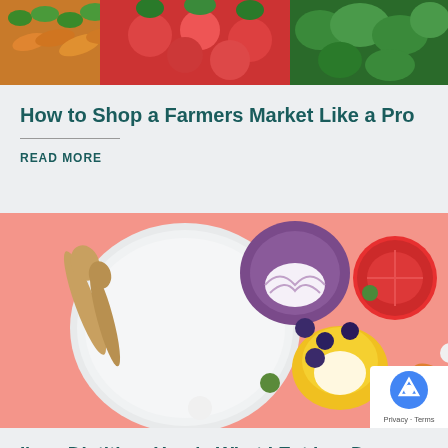[Figure (photo): Top banner image of fresh vegetables including carrots, radishes, and leafy greens on a wooden surface]
How to Shop a Farmers Market Like a Pro
READ MORE
[Figure (photo): Flat lay food photo on pink background with a white plate, wooden spoons, halved purple cabbage, tomatoes, yellow bell pepper, blueberries, and other vegetables]
I'm a Dietitian. Here's What I Eat in a Day